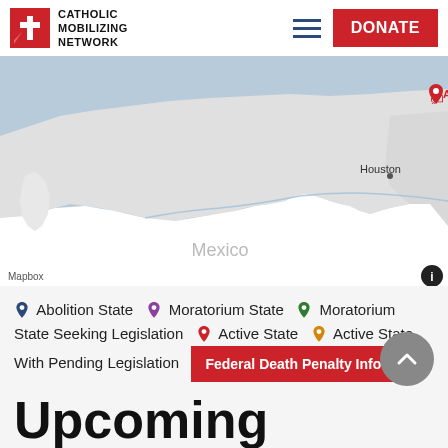[Figure (logo): Catholic Mobilizing Network logo with red cross icon and organization name]
[Figure (map): Map showing Mexico and southern US region including Houston, with colored pins for death penalty status by state. Mapbox attribution visible.]
Abolition State  Moratorium State  Moratorium State Seeking Legislation  Active State  Active State With Pending Legislation  Federal Death Penalty Info
Upcoming